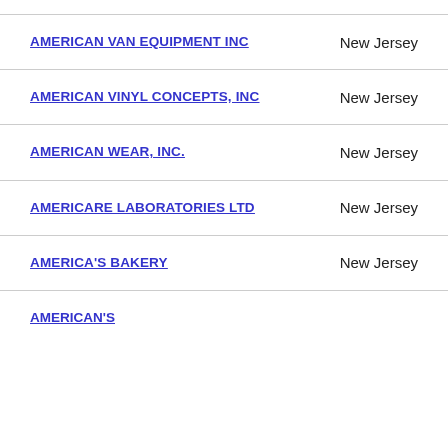AMERICAN VAN EQUIPMENT INC — New Jersey
AMERICAN VINYL CONCEPTS, INC — New Jersey
AMERICAN WEAR, INC. — New Jersey
AMERICARE LABORATORIES LTD — New Jersey
AMERICA'S BAKERY — New Jersey
AMERICAN'S (partial)